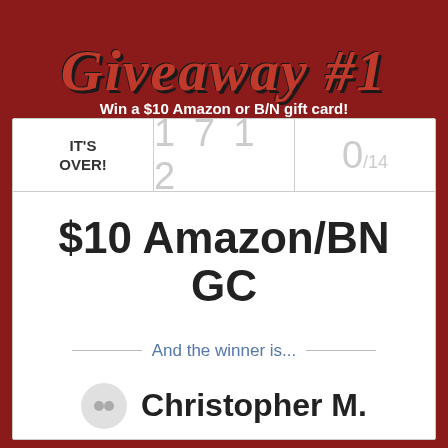Giveaway #1
Win a $10 Amazon or B/N gift card!
IT'S OVER!
1 7 1 2
0/14
$10 Amazon/BN GC
And the winner is...
Christopher M.
Do you run giveaways, too? Try Rafflecopter! It's free.